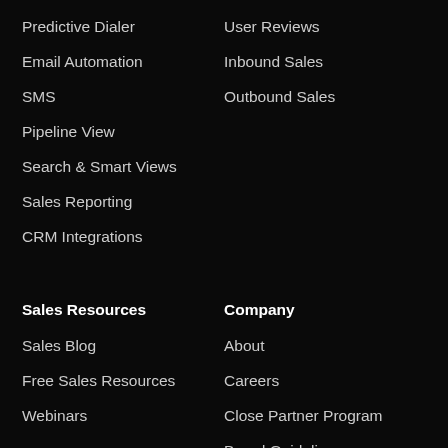Predictive Dialer
User Reviews
Email Automation
Inbound Sales
SMS
Outbound Sales
Pipeline View
Search & Smart Views
Sales Reporting
CRM Integrations
Sales Resources
Company
Sales Blog
About
Free Sales Resources
Careers
Webinars
Close Partner Program
Brand Guidelines
Terms